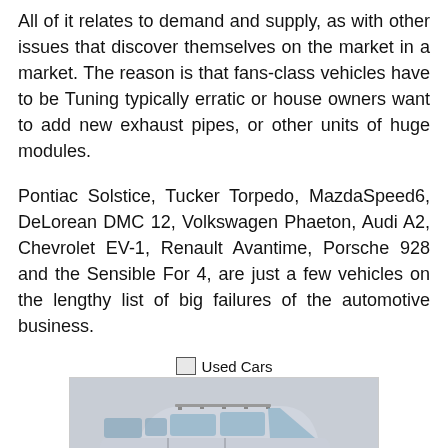All of it relates to demand and supply, as with other issues that discover themselves on the market in a market. The reason is that fans-class vehicles have to be Tuning typically erratic or house owners want to add new exhaust pipes, or other units of huge modules.

Pontiac Solstice, Tucker Torpedo, MazdaSpeed6, DeLorean DMC 12, Volkswagen Phaeton, Audi A2, Chevrolet EV-1, Renault Avantime, Porsche 928 and the Sensible For 4, are just a few vehicles on the lengthy list of big failures of the automotive business.
Used Cars
[Figure (photo): Photo of a silver Mitsubishi Delica / mini-van style SUV parked indoors, front three-quarter view, with a smaller inset image in the bottom-right corner.]